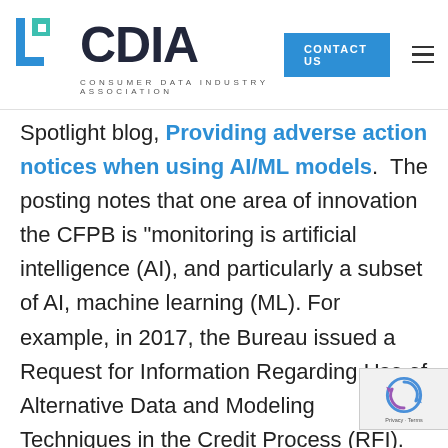CDIA – Consumer Data Industry Association | CONTACT US
Spotlight blog, Providing adverse action notices when using AI/ML models. The posting notes that one area of innovation the CFPB is "monitoring is artificial intelligence (AI), and particularly a subset of AI, machine learning (ML). For example, in 2017, the Bureau issued a Request for Information Regarding Use of Alternative Data and Modeling Techniques in the Credit Process (RFI). We also issued a No-Action Letter to Upstart Network Inc., a company that uses ML in making credit decisions, and later shared key highlights from